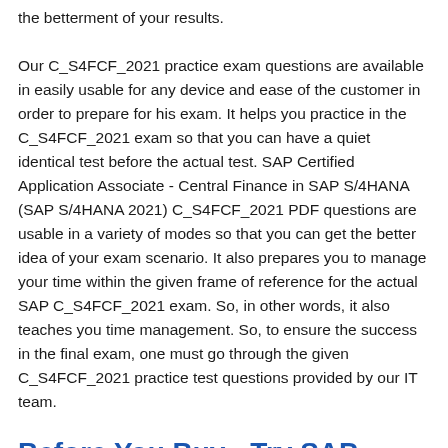the betterment of your results.

Our C_S4FCF_2021 practice exam questions are available in easily usable for any device and ease of the customer in order to prepare for his exam. It helps you practice in the C_S4FCF_2021 exam so that you can have a quiet identical test before the actual test. SAP Certified Application Associate - Central Finance in SAP S/4HANA (SAP S/4HANA 2021) C_S4FCF_2021 PDF questions are usable in a variety of modes so that you can get the better idea of your exam scenario. It also prepares you to manage your time within the given frame of reference for the actual SAP C_S4FCF_2021 exam. So, in other words, it also teaches you time management. So, to ensure the success in the final exam, one must go through the given C_S4FCF_2021 practice test questions provided by our IT team.
Before You Buy - Try SAP Certified Application Associate C_S4FCF_2021